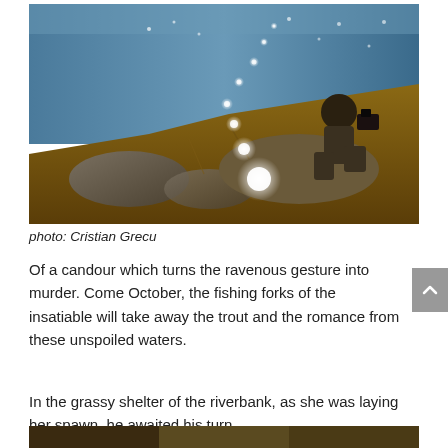[Figure (photo): A photographer crouching on a rocky riverbank with sunlight sparkling on the water surface, surrounded by brown grass and stones.]
photo: Cristian Grecu
Of a candour which turns the ravenous gesture into murder. Come October, the fishing forks of the insatiable will take away the trout and the romance from these unspoiled waters.
In the grassy shelter of the riverbank, as she was laying her spawn, he awaited his turn.
[Figure (photo): Partial view of another photograph at the bottom of the page, cropped.]